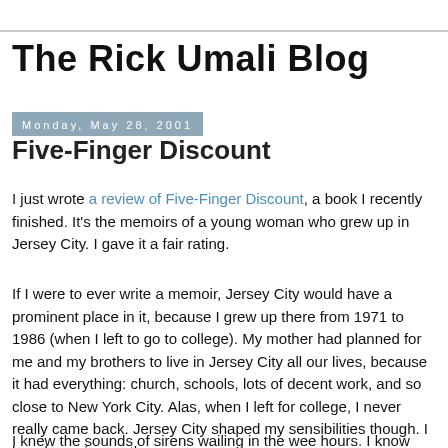The Rick Umali Blog
Monday, May 28, 2001
Five-Finger Discount
I just wrote a review of Five-Finger Discount, a book I recently finished. It's the memoirs of a young woman who grew up in Jersey City. I gave it a fair rating.
If I were to ever write a memoir, Jersey City would have a prominent place in it, because I grew up there from 1971 to 1986 (when I left to go to college). My mother had planned for me and my brothers to live in Jersey City all our lives, because it had everything: church, schools, lots of decent work, and so close to New York City. Alas, when I left for college, I never really came back. Jersey City shaped my sensibilities though. I loved growing up there.
I knew the sounds of sirens wailing in the wee hours. I know